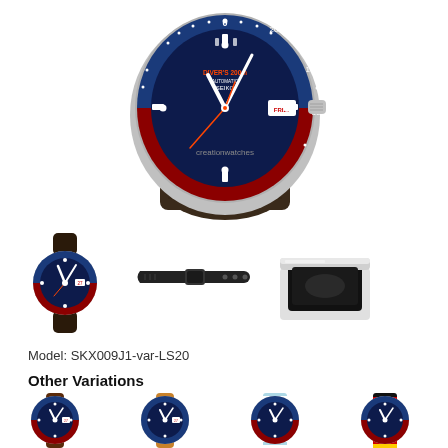[Figure (photo): Main product image of Seiko SKX009J1 diver watch with blue/red bezel on dark leather strap, shown close-up from slightly above. Watermark 'creationwatches' visible on strap.]
[Figure (photo): Thumbnail: Seiko SKX009J1 diver watch full view on dark leather strap]
[Figure (photo): Thumbnail: Black rubber/silicone replacement watch strap]
[Figure (photo): Thumbnail: Silver watch box open showing black interior lining]
Model: SKX009J1-var-LS20
Other Variations
[Figure (photo): Variation 1: Seiko SKX009J1 on brown leather strap]
[Figure (photo): Variation 2: Seiko SKX009J1 on tan/camel leather strap]
[Figure (photo): Variation 3: Seiko SKX009J1 on light blue and white striped NATO strap]
[Figure (photo): Variation 4: Seiko SKX009J1 on red, yellow, and dark striped NATO strap]